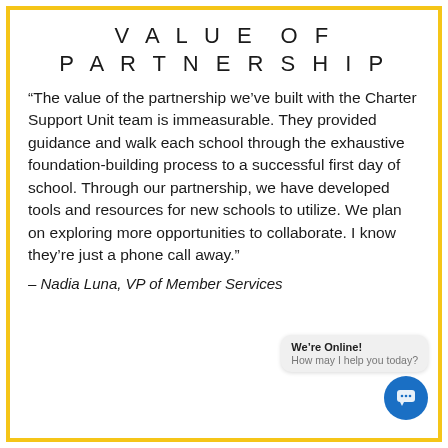VALUE OF PARTNERSHIP
“The value of the partnership we’ve built with the Charter Support Unit team is immeasurable. They provided guidance and walk each school through the exhaustive foundation-building process to a successful first day of school. Through our partnership, we have developed tools and resources for new schools to utilize. We plan on exploring more opportunities to collaborate. I know they’re just a phone call away.”
– Nadia Luna, VP of Member Services